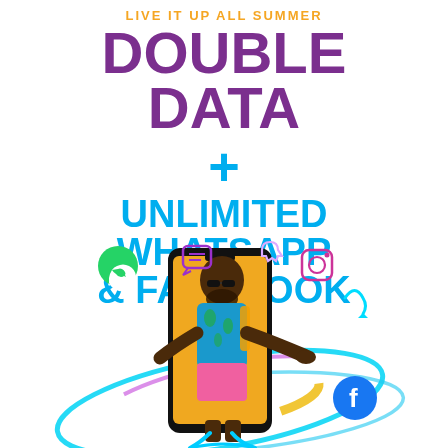LIVE IT UP ALL SUMMER
DOUBLE DATA
+
UNLIMITED WHATSAPP & FACEBOOK
[Figure (illustration): A man in a colorful tropical shirt and pink shorts emerging from a smartphone screen, surrounded by floating social media icons (WhatsApp, Facebook, Instagram, and others), with glowing swirl/light trail effects around the phone.]